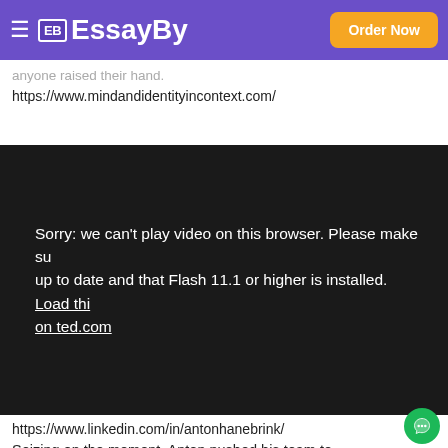EssayBy — Order Now
anyone raised their hand.
https://www.mindandidentityincontext.com/
[Figure (screenshot): Embedded video player showing error message: 'Sorry: we can't play video on this browser. Please make sure your browser is up to date and that Flash 11.1 or higher is installed. Load this video on ted.com']
https://www.linkedin.com/in/antonhanebrink/
Seizing on the moment, Anton pushed his team to examine